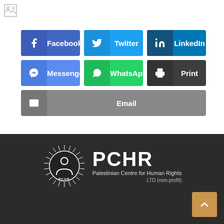[Figure (screenshot): Broken image icon in top left corner]
[Figure (infographic): Social share buttons: Facebook, Twitter, LinkedIn, Messenger, WhatsApp, Print, Email]
[Figure (logo): PCHR - Palestinian Centre for Human Rights LTD (non-profit) logo with circular emblem on dark background]